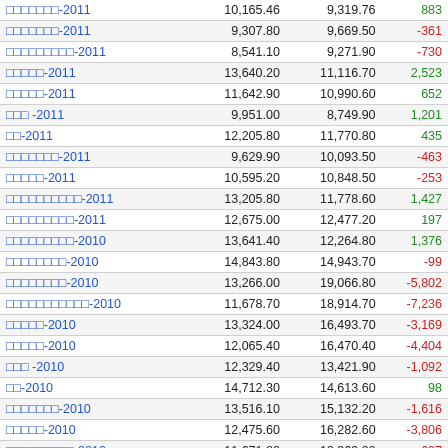|  |  |  |  |
| --- | --- | --- | --- |
| □□□□□□□-2011 | 10,165.46 | 9,319.76 | 883 |
| □□□□□□□-2011 | 9,307.80 | 9,669.50 | -361 |
| □□□□□□□□□-2011 | 8,541.10 | 9,271.90 | -730 |
| □□□□□-2011 | 13,640.20 | 11,116.70 | 2,523 |
| □□□□□-2011 | 11,642.90 | 10,990.60 | 652 |
| □□□ -2011 | 9,951.00 | 8,749.90 | 1,201 |
| □□-2011 | 12,205.80 | 11,770.80 | 435 |
| □□□□□□□-2011 | 9,629.90 | 10,093.50 | -463 |
| □□□□□-2011 | 10,595.20 | 10,848.50 | -253 |
| □□□□□□□□□□-2011 | 13,205.80 | 11,778.60 | 1,427 |
| □□□□□□□□□-2011 | 12,675.00 | 12,477.20 | 197 |
| □□□□□□□□□-2010 | 13,641.40 | 12,264.80 | 1,376 |
| □□□□□□□□-2010 | 14,843.80 | 14,943.70 | -99 |
| □□□□□□□□-2010 | 13,266.00 | 19,066.80 | -5,802 |
| □□□□□□□□□□□-2010 | 11,678.70 | 18,914.70 | -7,236 |
| □□□□□-2010 | 13,324.00 | 16,493.70 | -3,169 |
| □□□□□-2010 | 12,065.40 | 16,470.40 | -4,404 |
| □□□ -2010 | 12,329.40 | 13,421.90 | -1,092 |
| □□-2010 | 14,712.30 | 14,613.60 | 98 |
| □□□□□□□-2010 | 13,516.10 | 15,132.20 | -1,616 |
| □□□□□-2010 | 12,475.60 | 16,282.60 | -3,806 |
| □□□□□□□□□-2010 | 11,671.80 | 12,369.20 | -697 |
| □□□□□□□□□□-2010 | 16,562.20 | 17,873.30 | -1,311 |